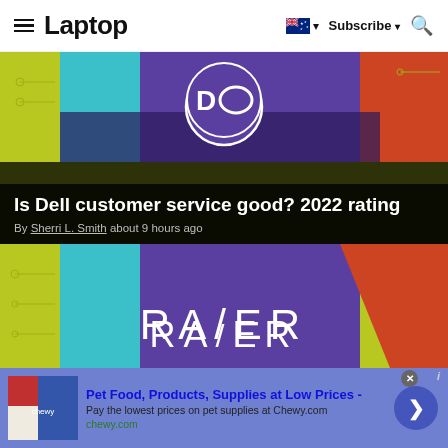Laptop — Subscribe
[Figure (photo): Dell article card with Dell logo on colorful circuit board background and dark overlay with article title]
Is Dell customer service good? 2022 rating
By Sherri L. Smith about 9 hours ago
[Figure (photo): Razer article card with Razer logo on colorful circuit board background]
[Figure (screenshot): Advertisement banner: Pet Food, Products, Supplies at Low Prices - chewy.com]